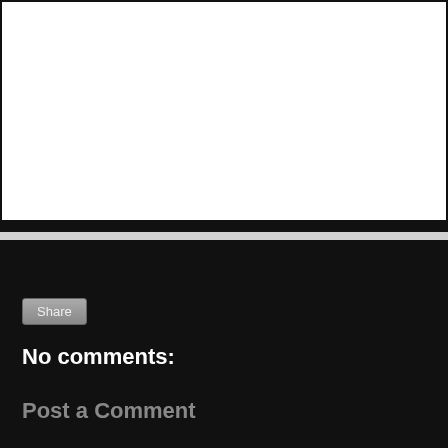[Figure (other): White content area box with dark border, representing a blog post content region]
Share
No comments:
Post a Comment